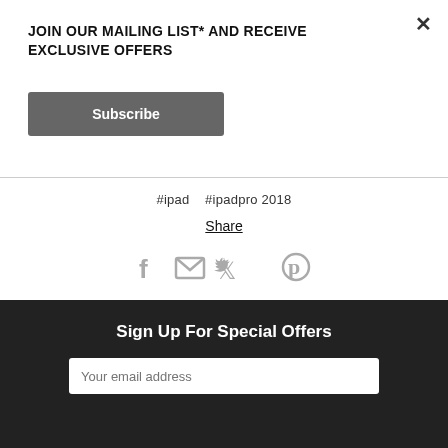×
JOIN OUR MAILING LIST* AND RECEIVE EXCLUSIVE OFFERS
Subscribe
#ipad   #ipadpro 2018
Share
[Figure (infographic): Social share icons: Facebook, Email, Twitter, Pinterest]
Sign Up For Special Offers
Your email address